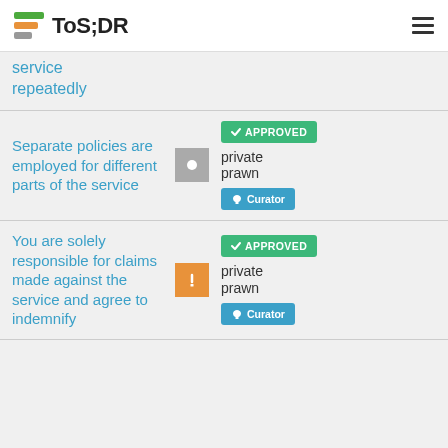ToS;DR
service repeatedly
Separate policies are employed for different parts of the service
APPROVED
private prawn
Curator
You are solely responsible for claims made against the service and agree to indemnify
APPROVED
private prawn
Curator